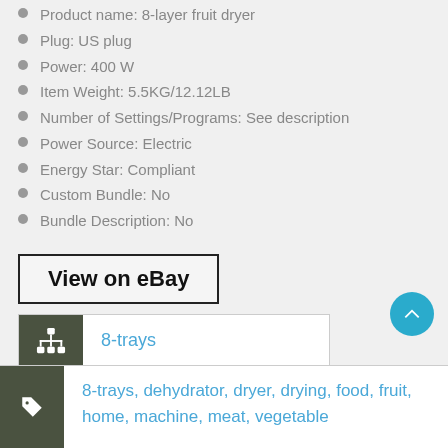Product name: 8-layer fruit dryer
Plug: US plug
Power: 400 W
Item Weight: 5.5KG/12.12LB
Number of Settings/Programs: See description
Power Source: Electric
Energy Star: Compliant
Custom Bundle: No
Bundle Description: No
View on eBay
8-trays
8-trays, dehydrator, dryer, drying, food, fruit, home, machine, meat, vegetable